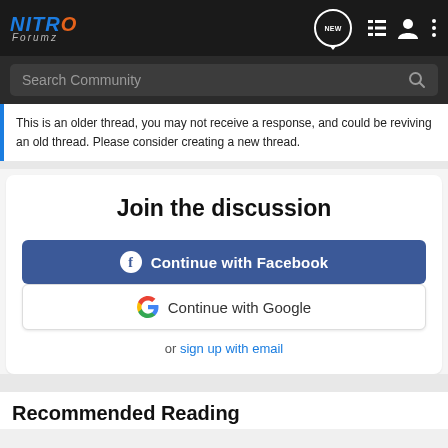NITRO Forumz
Search Community
This is an older thread, you may not receive a response, and could be reviving an old thread. Please consider creating a new thread.
Join the discussion
Continue with Facebook
Continue with Google
or sign up with email
Recommended Reading